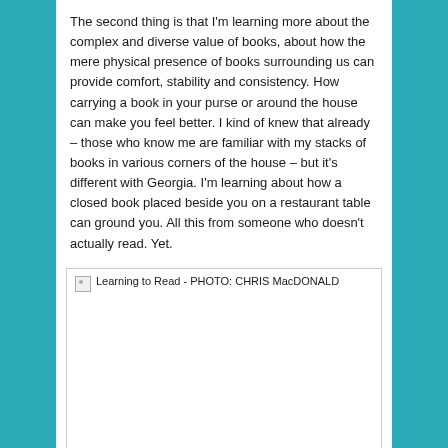The second thing is that I'm learning more about the complex and diverse value of books, about how the mere physical presence of books surrounding us can provide comfort, stability and consistency. How carrying a book in your purse or around the house can make you feel better. I kind of knew that already – those who know me are familiar with my stacks of books in various corners of the house – but it's different with Georgia. I'm learning about how a closed book placed beside you on a restaurant table can ground you. All this from someone who doesn't actually read. Yet.
[Figure (photo): Broken image placeholder with alt text: Learning to Read - PHOTO: CHRIS MacDONALD]